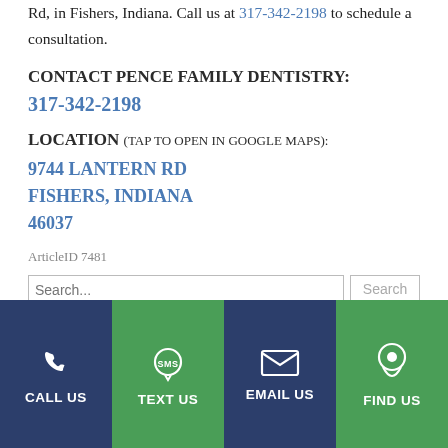Rd, in Fishers, Indiana. Call us at 317-342-2198 to schedule a consultation.
CONTACT PENCE FAMILY DENTISTRY:
317-342-2198
LOCATION (TAP TO OPEN IN GOOGLE MAPS):
9744 LANTERN RD FISHERS, INDIANA 46037
ArticleID 7481
[Figure (infographic): Website footer navigation bar with four buttons: CALL US (dark navy, phone icon), TEXT US (green, SMS speech bubble icon), EMAIL US (dark navy, envelope icon), FIND US (green, map pin icon)]